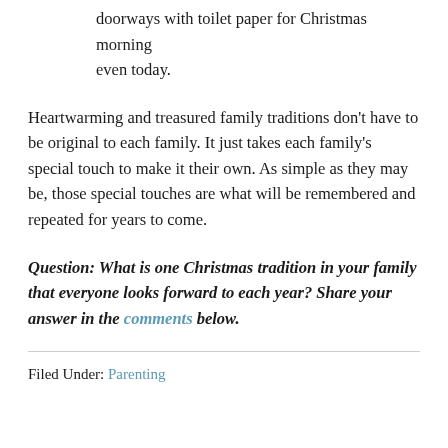doorways with toilet paper for Christmas morning even today.
Heartwarming and treasured family traditions don't have to be original to each family. It just takes each family's special touch to make it their own. As simple as they may be, those special touches are what will be remembered and repeated for years to come.
Question: What is one Christmas tradition in your family that everyone looks forward to each year? Share your answer in the comments below.
Filed Under: Parenting